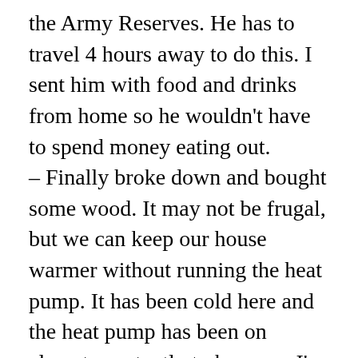the Army Reserves. He has to travel 4 hours away to do this. I sent him with food and drinks from home so he wouldn't have to spend money eating out. – Finally broke down and bought some wood. It may not be frugal, but we can keep our house warmer without running the heat pump. It has been cold here and the heat pump has been on almost constantly to keep up. I've learned that heat pumps are pretty much useless when the temperatures get below about 30*F.